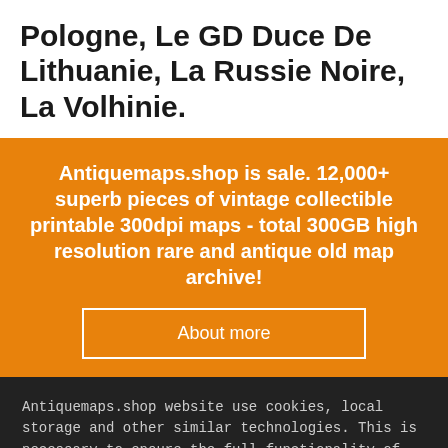Pologne, Le GD Duce De Lithuanie, La Russie Noire, La Volhinie.
Antiquemaps.shop is sale. 12,000+ superb pieces of vintage collectible printable 300dpi maps - total 300GB high resolution rare and antique old map archive!
About more
Antiquemaps.shop website use cookies, local storage and other similar technologies. This is necessary to ensure the full functionality of our services. Using our services and sites after reading this notice means that you have given your consent to their use in your browser. Click "OK" to confirm your agreement
Accept
Cancel